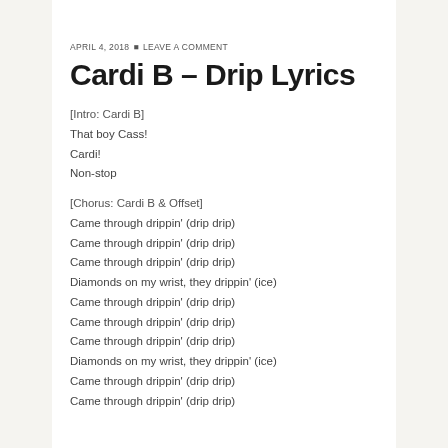APRIL 4, 2018 • LEAVE A COMMENT
Cardi B – Drip Lyrics
[Intro: Cardi B]
That boy Cass!
Cardi!
Non-stop
[Chorus: Cardi B & Offset]
Came through drippin' (drip drip)
Came through drippin' (drip drip)
Came through drippin' (drip drip)
Diamonds on my wrist, they drippin' (ice)
Came through drippin' (drip drip)
Came through drippin' (drip drip)
Came through drippin' (drip drip)
Diamonds on my wrist, they drippin' (ice)
Came through drippin' (drip drip)
Came through drippin' (drip drip)